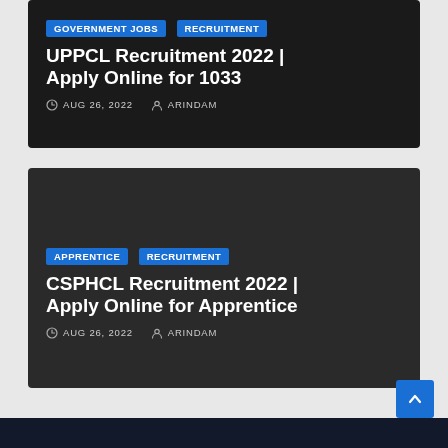[Figure (screenshot): Dark card for UPPCL Recruitment 2022 with tags GOVERNMENT JOBS and RECRUITMENT, title text, date AUG 26 2022, author ARINDAM]
UPPCL Recruitment 2022 | Apply Online for 1033
AUG 26, 2022  ARINDAM
[Figure (screenshot): Dark card for CSPHCL Recruitment 2022 with tags APPRENTICE and RECRUITMENT, title text, date AUG 26 2022, author ARINDAM]
CSPHCL Recruitment 2022 | Apply Online for Apprentice
AUG 26, 2022  ARINDAM